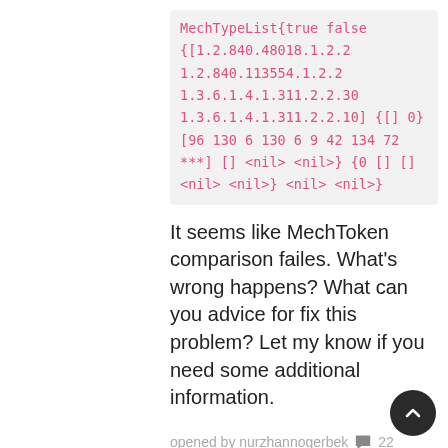MechTypeList{true false {[1.2.840.48018.1.2.2 1.2.840.113554.1.2.2 1.3.6.1.4.1.311.2.2.30 1.3.6.1.4.1.311.2.2.10] {[] 0} [96 130 6 130 6 9 42 134 72 ***] [] <nil> <nil>} {0 [] [] <nil> <nil>} <nil> <nil>}
It seems like MechToken comparison failes. What's wrong happens? What can you advice for fix this problem? Let my know if you need some additional information.
opened by nurzhannogerbek 💬 22